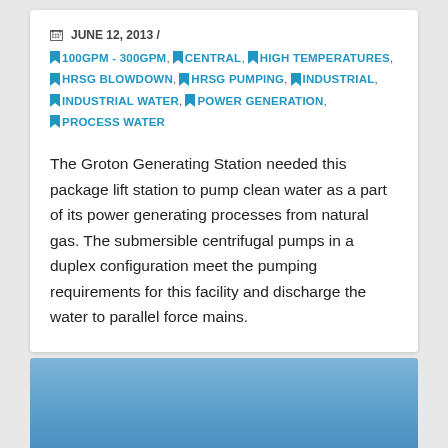JUNE 12, 2013 / 100GPM - 300GPM, CENTRAL, HIGH TEMPERATURES, HRSG BLOWDOWN, HRSG PUMPING, INDUSTRIAL, INDUSTRIAL WATER, POWER GENERATION, PROCESS WATER
The Groton Generating Station needed this package lift station to pump clean water as a part of its power generating processes from natural gas. The submersible centrifugal pumps in a duplex configuration meet the pumping requirements for this facility and discharge the water to parallel force mains.
[Figure (photo): Blue gradient background image, partially visible at the bottom of the page]